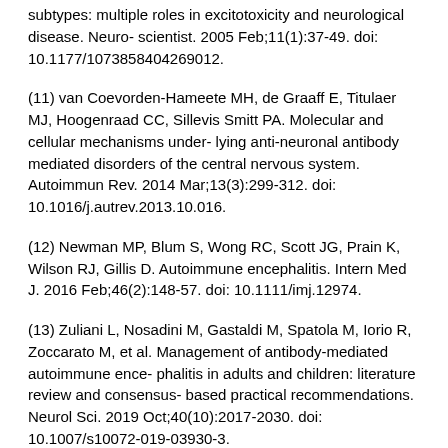subtypes: multiple roles in excitotoxicity and neurological disease. Neuro- scientist. 2005 Feb;11(1):37-49. doi: 10.1177/1073858404269012.
(11) van Coevorden-Hameete MH, de Graaff E, Titulaer MJ, Hoogenraad CC, Sillevis Smitt PA. Molecular and cellular mechanisms under- lying anti-neuronal antibody mediated disorders of the central nervous system. Autoimmun Rev. 2014 Mar;13(3):299-312. doi: 10.1016/j.autrev.2013.10.016.
(12) Newman MP, Blum S, Wong RC, Scott JG, Prain K, Wilson RJ, Gillis D. Autoimmune encephalitis. Intern Med J. 2016 Feb;46(2):148-57. doi: 10.1111/imj.12974.
(13) Zuliani L, Nosadini M, Gastaldi M, Spatola M, Iorio R, Zoccarato M, et al. Management of antibody-mediated autoimmune ence- phalitis in adults and children: literature review and consensus- based practical recommendations. Neurol Sci. 2019 Oct;40(10):2017-2030. doi: 10.1007/s10072-019-03930-3.
(14) Cellucci T, Van Mater H, Graus F, Muscal E, Gallentine W, Klein- Gitelman MS, et al. Clinical approach to the diagnosis of